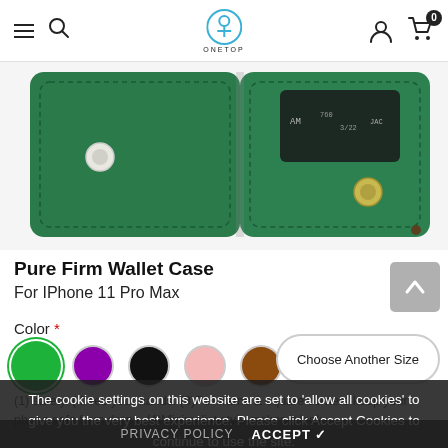ONETOP navigation bar with hamburger menu, search, logo, user icon, cart (0)
[Figure (photo): Green leather wallet phone case open, showing card slot with a card visible, white and silver snap buttons, stitched edges]
Pure Firm Wallet Case
For IPhone 11 Pro Max
Color *
Choose Another Size
The cookie settings on this website are set to 'allow all cookies' to give you the very best experience. Please click Accept Cookies to continue to use the site.
(1) safety. (2) frees your hands. (3)Full frame & square corners keep your phone safe from drops. (4)Minimalist style makes it look
PRIVACY POLICY   ACCEPT ✓